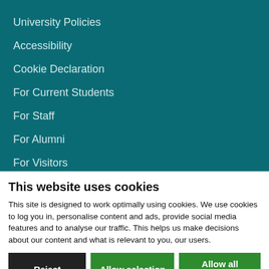University Policies
Accessibility
Cookie Declaration
For Current Students
For Staff
For Alumni
For Visitors
This website uses cookies
This site is designed to work optimally using cookies. We use cookies to log you in, personalise content and ads, provide social media features and to analyse our traffic. This helps us make decisions about our content and what is relevant to you, our users.
Reject | Allow selection | Allow all cookies
Necessary  Preferences  Statistics  Marketing  Show details